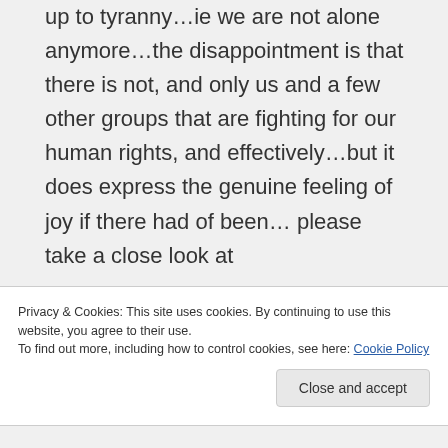up to tyranny…ie we are not alone anymore…the disappointment is that there is not, and only us and a few other groups that are fighting for our human rights, and effectively…but it does express the genuine feeling of joy if there had of been… please take a close look at
Privacy & Cookies: This site uses cookies. By continuing to use this website, you agree to their use. To find out more, including how to control cookies, see here: Cookie Policy
Close and accept